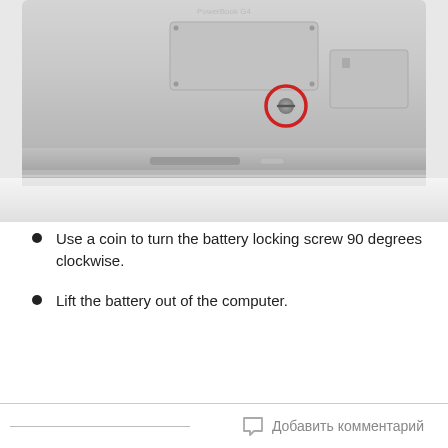[Figure (photo): Photograph of the bottom of a laptop computer (silver/aluminum), showing the battery compartment area. A battery locking screw is highlighted with a red circle. Rectangular access panels are visible on the surface.]
Use a coin to turn the battery locking screw 90 degrees clockwise.
Lift the battery out of the computer.
Добавить комментарий